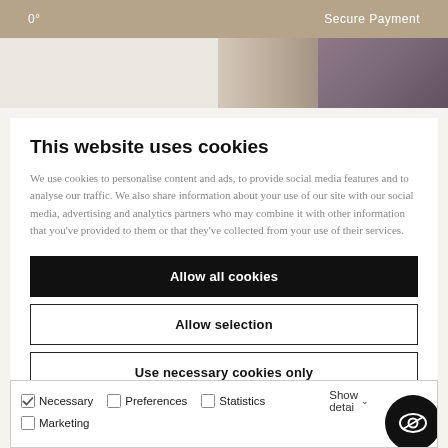0° · Secure Payment
[Figure (photo): Partial image strip showing furniture/interior scene on right side, beige/grey tones]
This website uses cookies
We use cookies to personalise content and ads, to provide social media features and to analyse our traffic. We also share information about your use of our site with our social media, advertising and analytics partners who may combine it with other information that you've provided to them or that they've collected from your use of their services.
Allow all cookies
Allow selection
Use necessary cookies only
Necessary   Preferences   Statistics   Marketing   Show details